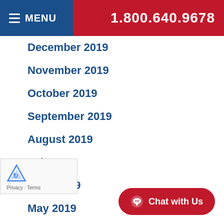MENU   1.800.640.9678
December 2019
November 2019
October 2019
September 2019
August 2019
July 2019
June 2019
May 2019
April 2019
March 2019
February 2019